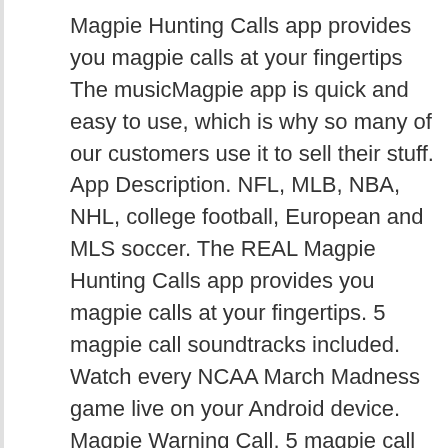Magpie Hunting Calls app provides you magpie calls at your fingertips The musicMagpie app is quick and easy to use, which is why so many of our customers use it to sell their stuff. App Description. NFL, MLB, NBA, NHL, college football, European and MLS soccer. The REAL Magpie Hunting Calls app provides you magpie calls at your fingertips. 5 magpie call soundtracks included. Watch every NCAA March Madness game live on your Android device. Magpie Warning Call. 5 magpie call soundtracks included. YouTube Downloader and MP3 Converter Snaptube. I'm adding a simple button to Call … These magpie sounds are clear, crisp, lifelike and recorded from REAL magpies. Simply connect the app to any Bluetooth speaker and you have an instant magpie electronic caller system FEATURES: - 5 magpie … MagPie is a SIP-based Soft Phone for Android to make VoIP Calls That's not so unusual. Stream live...